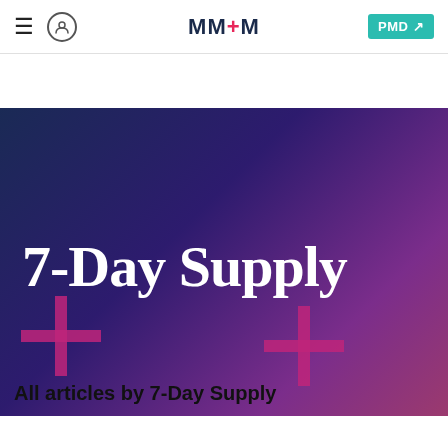MM+M  PMD
[Figure (illustration): Hero banner with dark blue-to-purple gradient background, large white serif text '7-Day Supply', and decorative pink/magenta plus signs at the bottom]
All articles by 7-Day Supply